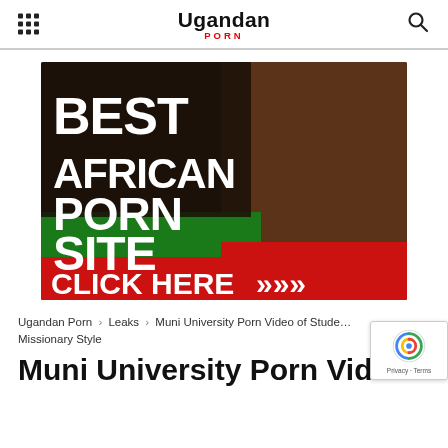Ugandan PORN
[Figure (photo): Advertisement banner with text 'BEST AFRICAN PORN SITE CLICK HERE >>>' on a dark background with green and red colors]
Ugandan Porn › Leaks › Muni University Porn Video of Student Missionary Style
Muni University Porn Video